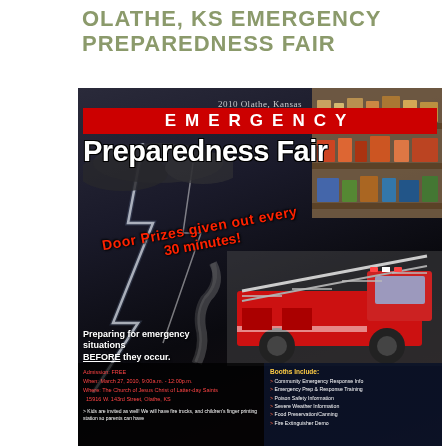OLATHE, KS EMERGENCY PREPAREDNESS FAIR
[Figure (infographic): 2010 Olathe, Kansas Emergency Preparedness Fair event flyer. Features dramatic stormy background with lightning, a fire truck, emergency supply shelves. Text includes event details: Admission FREE, When: March 27, 2010, 9:00a.m. - 12:00p.m., Where: The Church of Jesus Christ of Latter-day Saints, 15916 W. 143rd Street, Olathe, KS. Door Prizes given out every 30 minutes! Booths include: Community Emergency Response Info, Emergency Prep & Response Training, Poison Safety Information, Severe Weather Information, Food Preservation/Canning, Fire Extinguisher Demo.]